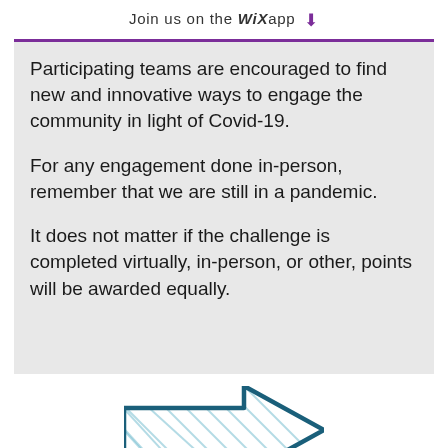Join us on the WiX app ⬇
Participating teams are encouraged to find new and innovative ways to engage the community in light of Covid-19.
For any engagement done in-person, remember that we are still in a pandemic.
It does not matter if the challenge is completed virtually, in-person, or other, points will be awarded equally.
[Figure (illustration): A hand-drawn style arrow pointing to the right, with a hatched/sketchy blue fill and a teal/dark blue outline.]